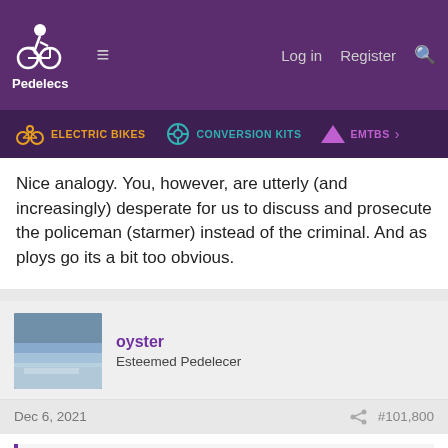Pedelecs — Log in Register
ELECTRIC BIKES   CONVERSION KITS   EMTBS
Nice analogy. You, however, are utterly (and increasingly) desperate for us to discuss and prosecute the policeman (starmer) instead of the criminal. And as ploys go its a bit too obvious.
oyster
Esteemed Pedelecer
Dec 6, 2021   #101,800
flecc said:
They aren't being sentenced, they aren't law enforcers like the police and the police clearly aren't interested in that possibility of a covid...